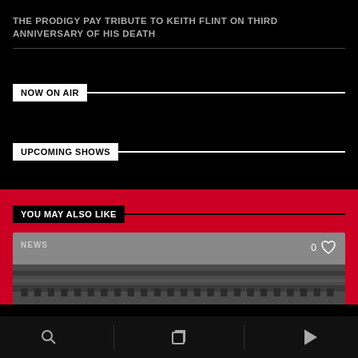THE PRODIGY PAY TRIBUTE TO KEITH FLINT ON THIRD ANNIVERSARY OF HIS DEATH
NOW ON AIR
UPCOMING SHOWS
YOU MAY ALSO LIKE
[Figure (screenshot): Card preview showing NEWS label and heart icon with 0 count, with architectural cornice image at the bottom]
Navigation bar with search, layers, and play icons